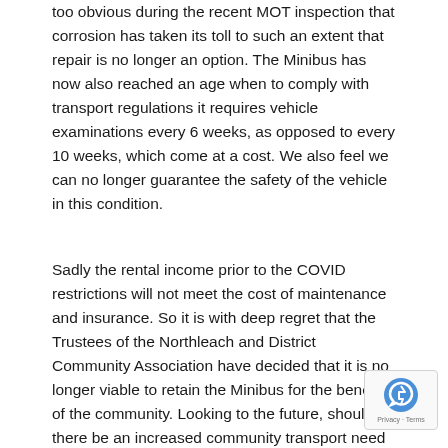too obvious during the recent MOT inspection that corrosion has taken its toll to such an extent that repair is no longer an option. The Minibus has now also reached an age when to comply with transport regulations it requires vehicle examinations every 6 weeks, as opposed to every 10 weeks, which come at a cost. We also feel we can no longer guarantee the safety of the vehicle in this condition.
Sadly the rental income prior to the COVID restrictions will not meet the cost of maintenance and insurance. So it is with deep regret that the Trustees of the Northleach and District Community Association have decided that it is no longer viable to retain the Minibus for the benefit of the community. Looking to the future, should there be an increased community transport need at a later date, then the Association will look at what grants and fundraising will be available to raise the estimated £20,000 to purchase and maintain a new Minibus for our community.